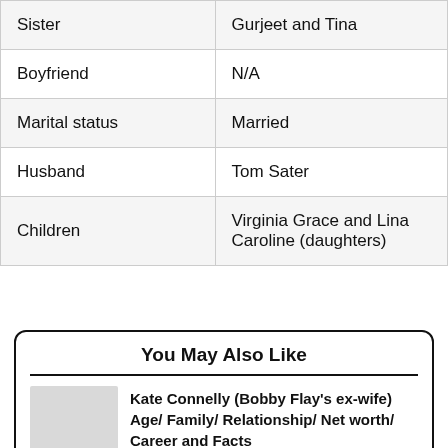| Sister | Gurjeet and Tina |
| Boyfriend | N/A |
| Marital status | Married |
| Husband | Tom Sater |
| Children | Virginia Grace and Lina Caroline (daughters) |
You May Also Like
Kate Connelly (Bobby Flay's ex-wife) Age/ Family/ Relationship/ Net worth/ Career and Facts